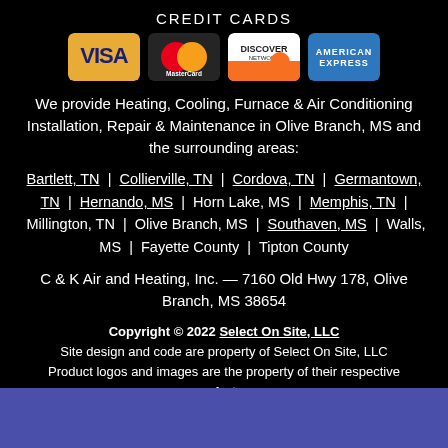CREDIT CARDS
[Figure (logo): Four credit card logos: Visa, MasterCard, Discover Network, American Express]
We provide Heating, Cooling, Furnace & Air Conditioning Installation, Repair & Maintenance in Olive Branch, MS and the surrounding areas:
Bartlett, TN | Collierville, TN | Cordova, TN | Germantown, TN | Hernando, MS | Horn Lake, MS | Memphis, TN | Millington, TN | Olive Branch, MS | Southaven, MS | Walls, MS | Fayette County | Tipton County
C & K Air and Heating, Inc. — 7160 Old Hwy 178, Olive Branch, MS 38654
Copyright © 2022 Select On Site, LLC
Site design and code are property of Select On Site, LLC
Product logos and images are the property of their respective manufacturers
[Figure (other): Blue bar at the bottom of the page]